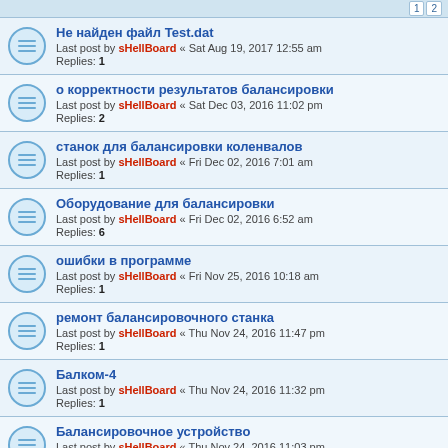Не найден файл Test.dat — Last post by sHellBoard « Sat Aug 19, 2017 12:55 am — Replies: 1
о корректности результатов балансировки — Last post by sHellBoard « Sat Dec 03, 2016 11:02 pm — Replies: 2
станок для балансировки коленвалов — Last post by sHellBoard « Fri Dec 02, 2016 7:01 am — Replies: 1
Оборудование для балансировки — Last post by sHellBoard « Fri Dec 02, 2016 6:52 am — Replies: 6
ошибки в программе — Last post by sHellBoard « Fri Nov 25, 2016 10:18 am — Replies: 1
ремонт балансировочного станка — Last post by sHellBoard « Thu Nov 24, 2016 11:47 pm — Replies: 1
Балком-4 — Last post by sHellBoard « Thu Nov 24, 2016 11:32 pm — Replies: 1
Балансировочное устройство — Last post by sHellBoard « Thu Nov 24, 2016 11:03 pm — Replies: 1
Балком2С — Last post by sHellBoard « Thu Nov 24, 2016 10:47 pm — Replies: 1